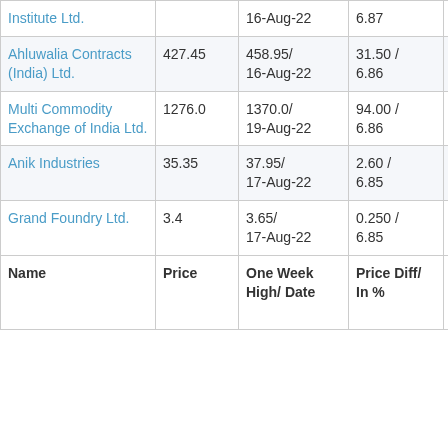| Name | Price | One Week High/ Date | Price Diff/ In % | Average Volume (K) |
| --- | --- | --- | --- | --- |
| Institute Ltd. |  | 16-Aug-22 | 6.87 |  |
| Ahluwalia Contracts (India) Ltd. | 427.45 | 458.95/ 16-Aug-22 | 31.50 / 6.86 | 23223 |
| Multi Commodity Exchange of India Ltd. | 1276.0 | 1370.0/ 19-Aug-22 | 94.00 / 6.86 | 377 K |
| Anik Industries | 35.35 | 37.95/ 17-Aug-22 | 2.60 / 6.85 | 97603 |
| Grand Foundry Ltd. | 3.4 | 3.65/ 17-Aug-22 | 0.250 / 6.85 | 2448 |